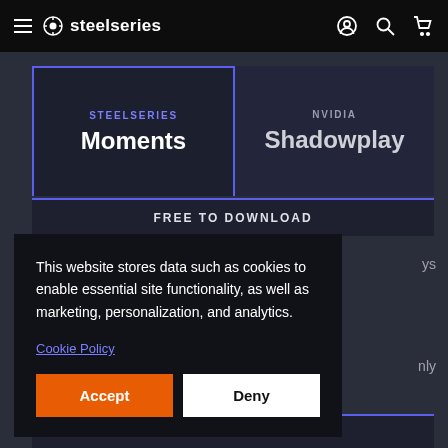steelseries
[Figure (screenshot): SteelSeries website tab selector showing STEELSERIES Moments (active tab) and NVIDIA Shadowplay (inactive tab)]
FREE TO DOWNLOAD
This website stores data such as cookies to enable essential site functionality, as well as marketing, personalization, and analytics.
Cookie Policy
Accept
Deny
EASY SETUP